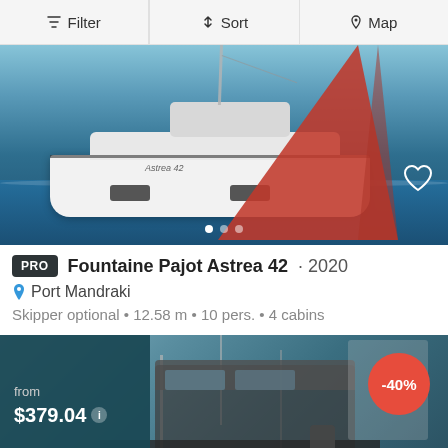Filter | Sort | Map
[Figure (photo): Aerial photo of a white Fountaine Pajot Astrea 42 catamaran sailing on blue water with a red sail, with carousel navigation dots and heart/favorite icon overlay]
PRO  Fountaine Pajot Astrea 42 · 2020
Port Mandraki
Skipper optional • 12.58 m • 10 pers. • 4 cabins
[Figure (photo): Photo of a sailing boat marina with cockpit visible, overlaid with a dark teal price box showing 'from $379.04' with info icon, and a red -40% discount badge in top right corner]